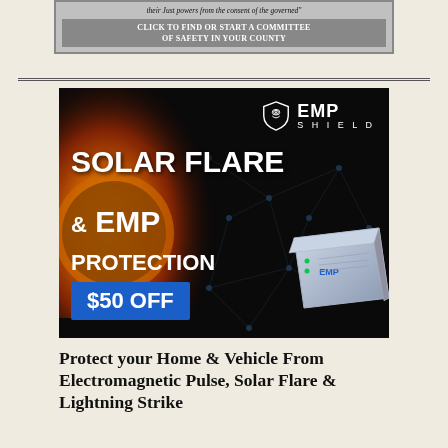[Figure (infographic): Grey banner with italic quote text 'their Just powers from the consent of the governed' and bold call-to-action 'CLICK TO FIND OR START A COMMITTEE OF SAFETY IN YOUR COUNTY']
[Figure (infographic): EMP Shield advertisement with dark background, solar flare imagery, shield logo, text 'SOLAR FLARE & EMP PROTECTION', '$50 OFF' in blue button, and device product photo]
Protect your Home & Vehicle From Electromagnetic Pulse, Solar Flare & Lightning Strike